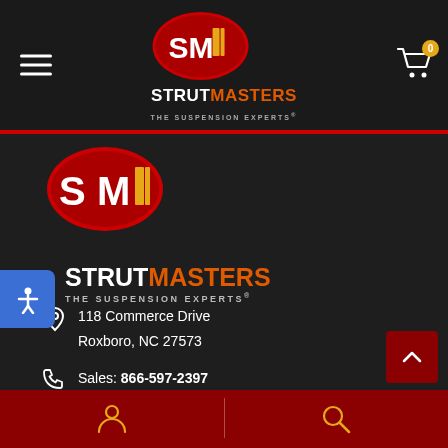[Figure (logo): StrutMasters SM oval logo in navigation header]
[Figure (logo): StrutMasters SM oval logo in body/footer area]
STRUTMASTERS THE SUSPENSION EXPERTS®
118 Commerce Drive Roxboro, NC 27573
Sales: 866-597-2397
Tech: 866-998-8737
SALES